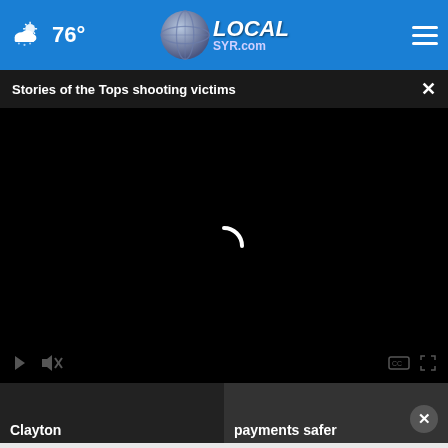76° LOCALsyr.com
Stories of the Tops shooting victims
[Figure (screenshot): Black video player area with loading spinner (white arc) and video controls at the bottom]
Clayton
payments safer
[Figure (screenshot): Dark blue advertisement banner reading SHE CAN STEM with a close button]